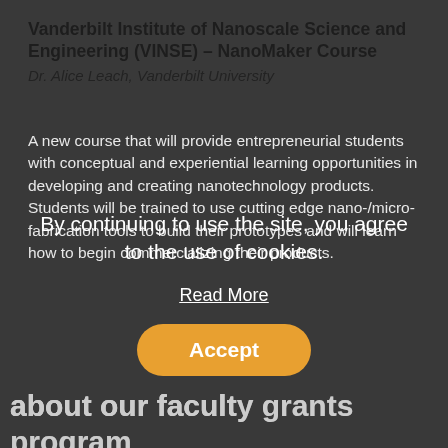Vanderbilt Institute of Nanoscale Science and Engineering (VINSE) – NanoMaker Course
Dr. Alice Leach, Vanderbilt University
A new course that will provide entrepreneurial students with conceptual and experiential learning opportunities in developing and creating nanotechnology products. Students will be trained to use cutting edge nano-/micro-fabrication tools to build their prototypes and will learn how to begin commercializing their products.
By continuing to use the site, you agree to the use of cookies.
Read More
Accept
about our faculty grants program
The VentureWell Faculty Grants Program offers university faculty up to $30k in funding to pioneer new ways to challenge students to develop inventive, STEM-based ideas and gain the entrepreneurial skills they need to bring them to market. In addition to funding, grantees receive training,